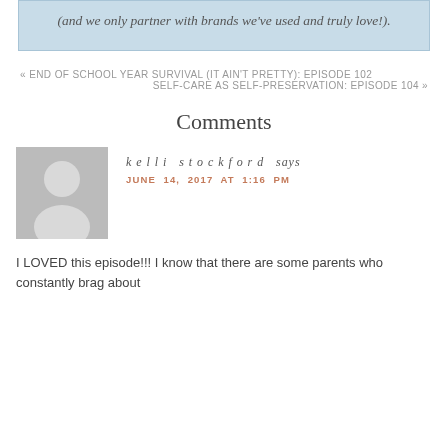(and we only partner with brands we've used and truly love!).
« END OF SCHOOL YEAR SURVIVAL (IT AIN'T PRETTY): EPISODE 102
SELF-CARE AS SELF-PRESERVATION: EPISODE 104 »
Comments
[Figure (illustration): Gray placeholder avatar icon showing a generic silhouette of a person]
kelli stockford says
JUNE 14, 2017 AT 1:16 PM
I LOVED this episode!!! I know that there are some parents who constantly brag about